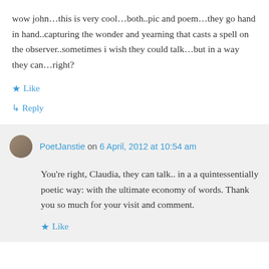wow john…this is very cool…both..pic and poem…they go hand in hand..capturing the wonder and yearning that casts a spell on the observer..sometimes i wish they could talk…but in a way they can…right?
★ Like
↳ Reply
PoetJanstie on 6 April, 2012 at 10:54 am
You're right, Claudia, they can talk.. in a a quintessentially poetic way: with the ultimate economy of words. Thank you so much for your visit and comment.
★ Like